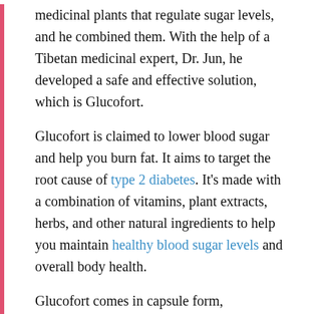medicinal plants that regulate sugar levels, and he combined them. With the help of a Tibetan medicinal expert, Dr. Jun, he developed a safe and effective solution, which is Glucofort.
Glucofort is claimed to lower blood sugar and help you burn fat. It aims to target the root cause of type 2 diabetes. It's made with a combination of vitamins, plant extracts, herbs, and other natural ingredients to help you maintain healthy blood sugar levels and overall body health.
Glucofort comes in capsule form, consumed daily with water to keep your sugar levels under control. It is advised to take it for at least six to eight weeks to notice the changes in your body.
A dietary supplement such as Glucofort, along with lifestyle and dietary changes can improve your overall health. It will also help to maintain a healthy blood sugar.